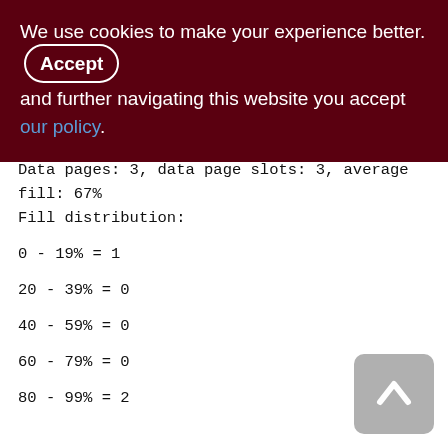We use cookies to make your experience better. By accepting and further navigating this website you accept our policy.
Data pages: 3, data page slots: 3, average fill: 67%
Fill distribution:
0 - 19% = 1
20 - 39% = 0
40 - 59% = 0
60 - 79% = 0
80 - 99% = 2
Index PK_SEMAPHORES (0)
Depth: 1, leaf buckets: 1, nodes: 4
Average data length: 8.50, total dup: 0,
max dup: 0